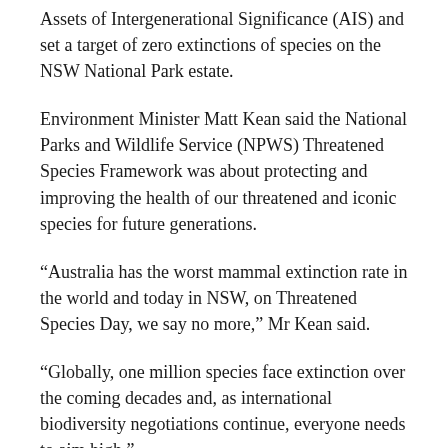Assets of Intergenerational Significance (AIS) and set a target of zero extinctions of species on the NSW National Park estate.
Environment Minister Matt Kean said the National Parks and Wildlife Service (NPWS) Threatened Species Framework was about protecting and improving the health of our threatened and iconic species for future generations.
“Australia has the worst mammal extinction rate in the world and today in NSW, on Threatened Species Day, we say no more,” Mr Kean said.
“Globally, one million species face extinction over the coming decades and, as international biodiversity negotiations continue, everyone needs to aim high.”
“Just as we have a net zero emissions target, we now also have a target of zero extinctions of species on